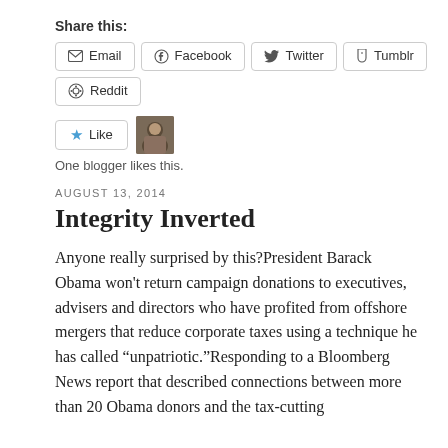Share this:
Email   Facebook   Twitter   Tumblr   Reddit
[Figure (other): Like button with star icon and blogger avatar thumbnail]
One blogger likes this.
AUGUST 13, 2014
Integrity Inverted
Anyone really surprised by this?President Barack Obama won't return campaign donations to executives, advisers and directors who have profited from offshore mergers that reduce corporate taxes using a technique he has called “unpatriotic.”Responding to a Bloomberg News report that described connections between more than 20 Obama donors and the tax-cutting